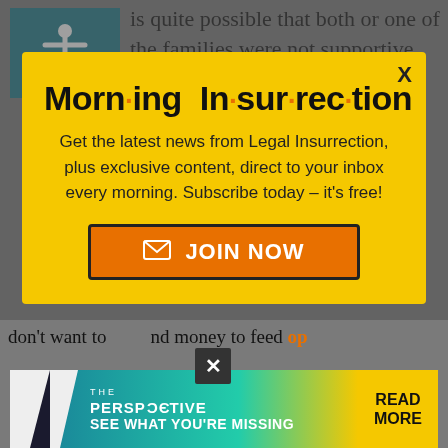[Figure (screenshot): Background page with accessibility icon and article text partially visible behind modal overlay]
[Figure (infographic): Morning Insurrection newsletter signup modal popup with yellow background, title 'Morn·ing In·sur·rec·tion', subscription text, and orange JOIN NOW button]
Get the latest news from Legal Insurrection, plus exclusive content, direct to your inbox every morning. Subscribe today – it's free!
[Figure (infographic): Bottom advertisement banner for 'The Perspective' with text 'SEE WHAT YOU'RE MISSING' and 'READ MORE' button]